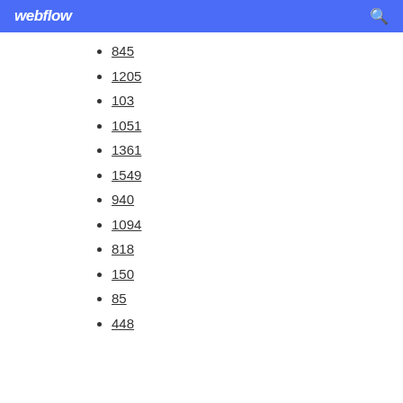webflow
845
1205
103
1051
1361
1549
940
1094
818
150
85
448